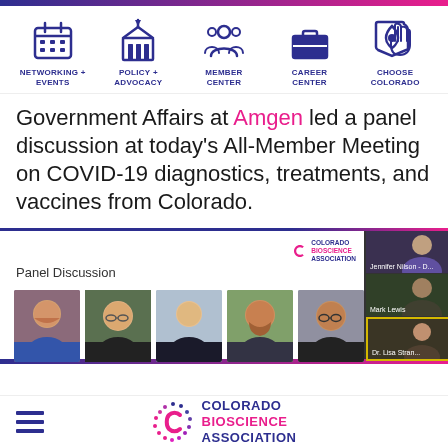[Figure (other): Navigation menu bar with 5 icons: calendar (Networking + Events), building/capitol (Policy + Advocacy), people (Member Center), briefcase (Career Center), pointing hand (Choose Colorado). Icons are in dark navy blue.]
Government Affairs at Amgen led a panel discussion at today's All-Member Meeting on COVID-19 diagnostics, treatments, and vaccines from Colorado.
[Figure (screenshot): Screenshot of a virtual panel discussion meeting. Left side shows Panel Discussion label and a Colorado Bioscience Association logo watermark. Below are headshots of 5 panelists in a row. Right side shows a video conference grid with 3 participants visible.]
[Figure (logo): Colorado Bioscience Association logo with stylized C mark in pink/magenta and dark blue text reading COLORADO BIOSCIENCE ASSOCIATION]